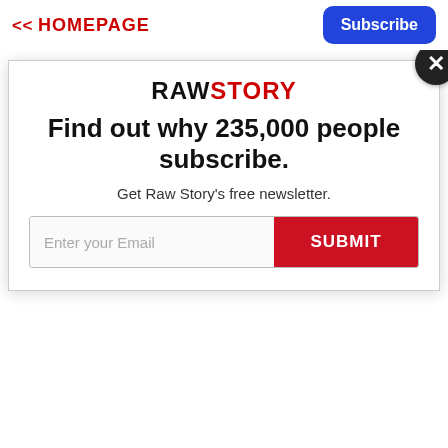<< HOMEPAGE  Subscribe
communist revolutionary icon Ernesto 'Che' Guevara. died in Caracas aged 60. Cuban President
[Figure (screenshot): Raw Story newsletter subscription modal with logo, headline 'Find out why 235,000 people subscribe.', subtext 'Get Raw Story's free newsletter.', email input field, and SUBMIT button]
Find out why 235,000 people subscribe.
Get Raw Story's free newsletter.